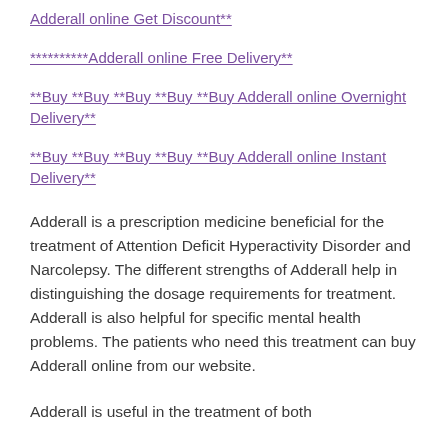Adderall online Get Discount**
**********Adderall online Free Delivery**
**Buy **Buy **Buy **Buy **Buy Adderall online Overnight Delivery**
**Buy **Buy **Buy **Buy **Buy Adderall online Instant Delivery**
Adderall is a prescription medicine beneficial for the treatment of Attention Deficit Hyperactivity Disorder and Narcolepsy. The different strengths of Adderall help in distinguishing the dosage requirements for treatment. Adderall is also helpful for specific mental health problems. The patients who need this treatment can buy Adderall online from our website.
Adderall is useful in the treatment of both